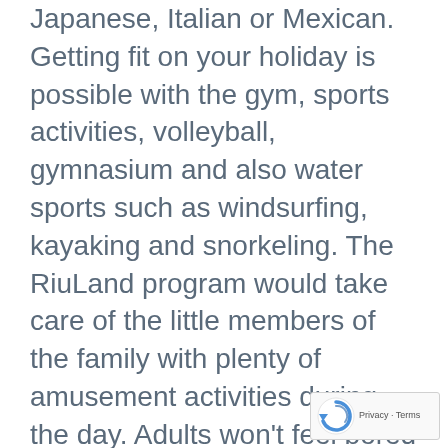Japanese, Italian or Mexican. Getting fit on your holiday is possible with the gym, sports activities, volleyball, gymnasium and also water sports such as windsurfing, kayaking and snorkeling. The RiuLand program would take care of the little members of the family with plenty of amusement activities during the day. Adults won't feel bored thanks to the live shows, music, and other entertainment during the day and night. In the surroundings of Cancun are natural spaces and heavenly beaches. You just can not miss the most popular visit of Cancun, Chichen Itza, the fantastic Maya ruins or Isla Mujeres to see protection and reproduction of the turtles
[Figure (other): reCAPTCHA widget with Privacy - Terms text]